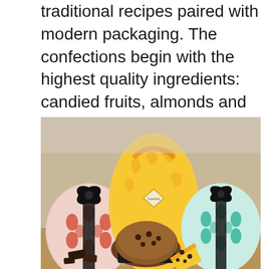traditional recipes paired with modern packaging. The confections begin with the highest quality ingredients: candied fruits, almonds and rich Italian chocolate. La Bella, The Beautiful, packaging presents these handcrafted confections as the gifts they truly are: hand wrapped in a vibrant modern color scheme, each finished with ribbon and a hand-tied bow.
[Figure (photo): Photo of panettone Italian confections: center is a large yellow-and-orange patterned wrapped panettone, flanked by a red-and-white damask wrapped gift on the left and a teal-and-white damask wrapped gift on the right, all with black ribbon bows. In the foreground is a whole panettone in a black paper cup, a slice of panettone showing yellow interior with chocolate chips, and pieces of dark chocolate on a wooden cutting board.]